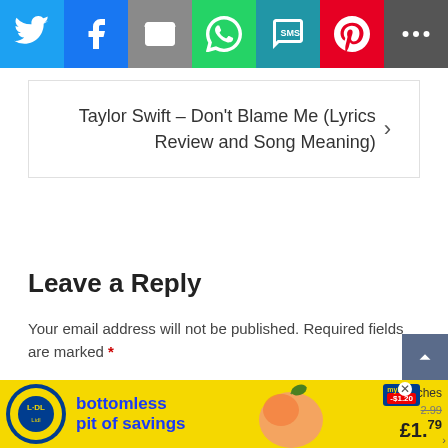[Figure (infographic): Social media share bar with icons for Twitter, Facebook, Email, WhatsApp, SMS, Pinterest, and More]
Taylor Swift – Don't Blame Me (Lyrics Review and Song Meaning) ›
Leave a Reply
Your email address will not be published. Required fields are marked *
Comment *
[Figure (infographic): Lidl advertisement banner: bottomless pit of savings, peaches, £1.79]